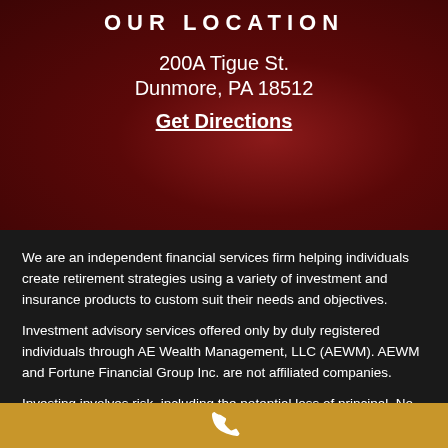OUR LOCATION
200A Tigue St.
Dunmore, PA 18512
Get Directions
We are an independent financial services firm helping individuals create retirement strategies using a variety of investment and insurance products to custom suit their needs and objectives.
Investment advisory services offered only by duly registered individuals through AE Wealth Management, LLC (AEWM). AEWM and Fortune Financial Group Inc. are not affiliated companies.
Investing involves risk, including the potential loss of principal. No
[Figure (illustration): White phone/call icon on gold/yellow background bar at the bottom of the page]